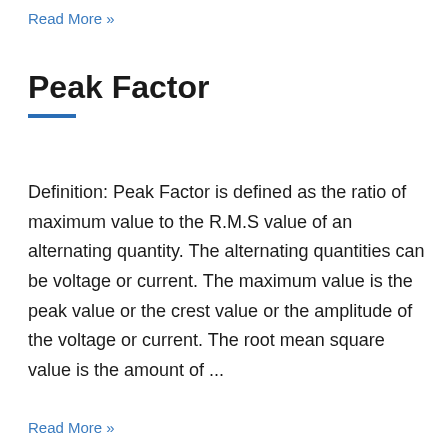Read More »
Peak Factor
Definition: Peak Factor is defined as the ratio of maximum value to the R.M.S value of an alternating quantity. The alternating quantities can be voltage or current. The maximum value is the peak value or the crest value or the amplitude of the voltage or current. The root mean square value is the amount of ...
Read More »